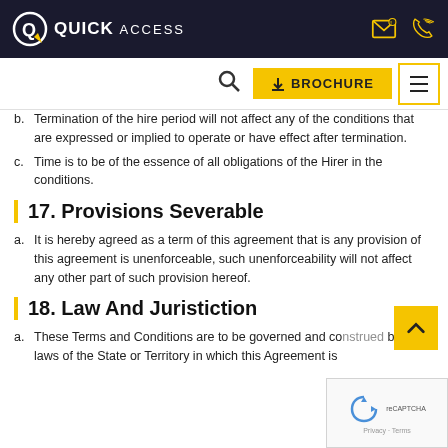QUICK ACCESS
b. Termination of the hire period will not affect any of the conditions that are expressed or implied to operate or have effect after termination.
c. Time is to be of the essence of all obligations of the Hirer in the conditions.
17. Provisions Severable
a. It is hereby agreed as a term of this agreement that is any provision of this agreement is unenforceable, such unenforceability will not affect any other part of such provision hereof.
18. Law And Juristiction
a. These Terms and Conditions are to be governed and construed by the laws of the State or Territory in which this Agreement is